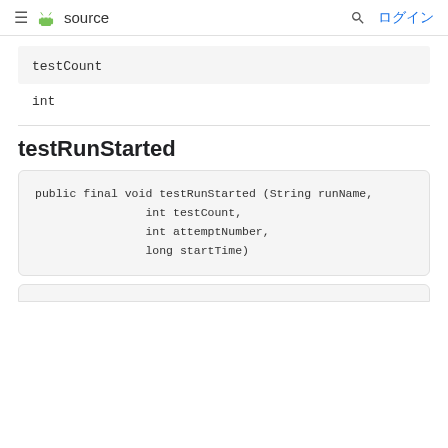≡ [android] source  🔍 ログイン
testCount
int
testRunStarted
public final void testRunStarted (String runName,
                int testCount,
                int attemptNumber,
                long startTime)